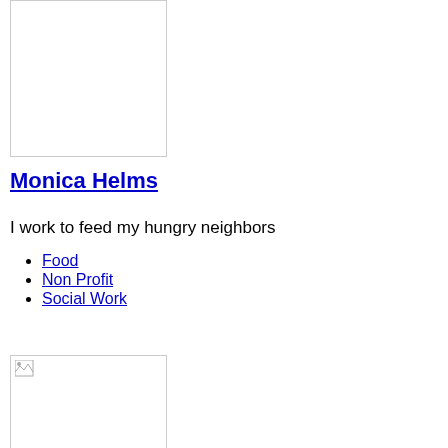[Figure (photo): Empty white image box with border, top profile image placeholder]
Monica Helms
I work to feed my hungry neighbors
Food
Non Profit
Social Work
[Figure (photo): Image box with broken image icon at top-left, bottom profile image placeholder]